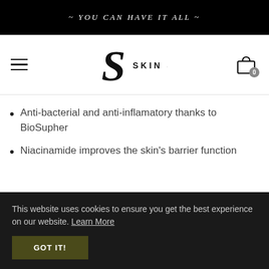~ YOU CAN HAVE IT ALL ~
[Figure (logo): Skin Saint logo with stylized S and text SKIN SAINT, with hamburger menu icon on left and shopping bag with 0 badge on right]
Anti-bacterial and anti-inflamatory thanks to BioSupher
Niacinamide improves the skin's barrier function
This website uses cookies to ensure you get the best experience on our website. Learn More
GOT IT!